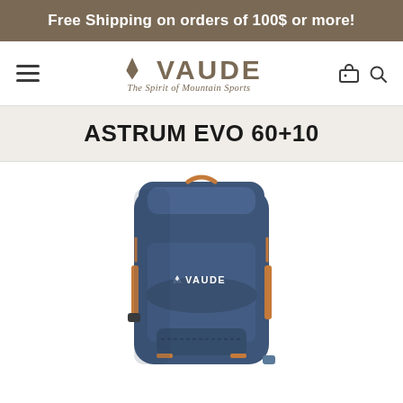Free Shipping on orders of 100$ or more!
[Figure (logo): VAUDE logo with mountain symbol and tagline 'The Spirit of Mountain Sports']
ASTRUM EVO 60+10
[Figure (photo): Navy blue VAUDE Astrum Evo 60+10 backpack with VAUDE logo on front, orange accent straps and clips, shown from the front]